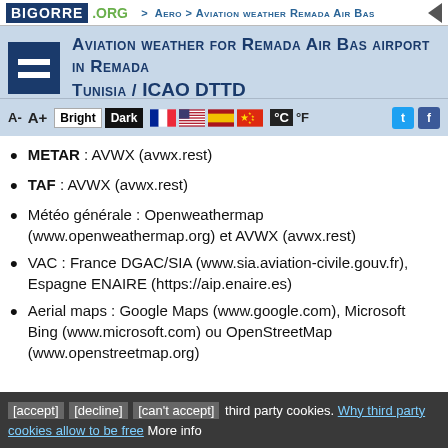BIGORRE .ORG > Aero > Aviation weather Remada Air Bas
Aviation weather for Remada Air Bas airport in Remada Tunisia / ICAO DTTD
[Figure (screenshot): Toolbar with font size controls (A-, A+), Bright/Dark theme buttons, French, US, Spanish, Chinese flags, °C °F toggle, Twitter and Facebook icons]
METAR : AVWX (avwx.rest)
TAF : AVWX (avwx.rest)
Météo générale : Openweathermap (www.openweathermap.org) et AVWX (avwx.rest)
VAC : France DGAC/SIA (www.sia.aviation-civile.gouv.fr), Espagne ENAIRE (https://aip.enaire.es)
Aerial maps : Google Maps (www.google.com), Microsoft Bing (www.microsoft.com) ou OpenStreetMap (www.openstreetmap.org)
[accept] [decline] [can't accept] third party cookies. Why third party cookies allow to be free More info